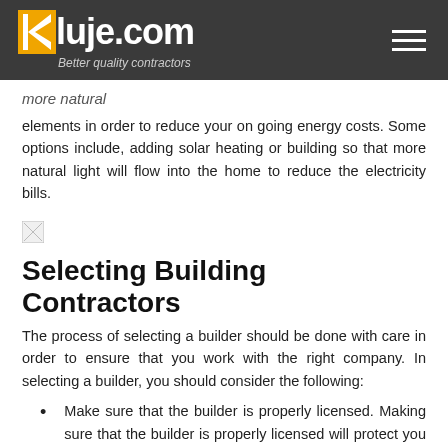Kluje.com — Better quality contractors
more natural
elements in order to reduce your on going energy costs. Some options include, adding solar heating or building so that more natural light will flow into the home to reduce the electricity bills.
[Figure (other): Broken/missing image placeholder]
Selecting Building Contractors
The process of selecting a builder should be done with care in order to ensure that you work with the right company. In selecting a builder, you should consider the following:
Make sure that the builder is properly licensed. Making sure that the builder is properly licensed will protect you against scams and other poor business practices that could